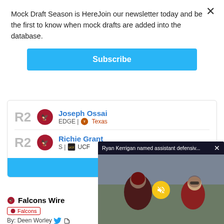Mock Draft Season is HereJoin our newsletter today and be the first to know when mock drafts are added into the database.
Subscribe
R2  Joseph Ossai  EDGE | Texas
R2  Richie Grant  S | UCF
Ryan Kerrigan named assistant defensiv...
RYAN KERRIGAN NAMED ASSISTANT DEFENSIVE LINE COACH
Falcons Wire
Falcons
By: Deen Worley
Falcons 2021 mock draft: Tra... NFL draft rapidly approaching